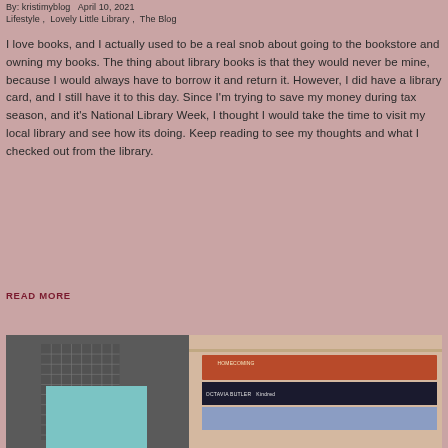By: kristimyblog   April 10, 2021
Lifestyle ,  Lovely Little Library ,  The Blog
I love books, and I actually used to be a real snob about going to the bookstore and owning my books. The thing about library books is that they would never be mine, because I would always have to borrow it and return it. However, I did have a library card, and I still have it to this day. Since I'm trying to save my money during tax season, and it's National Library Week, I thought I would take the time to visit my local library and see how its doing. Keep reading to see my thoughts and what I checked out from the library.
READ MORE
[Figure (photo): Photo showing stacked library books including Homecoming and Kindred by Octavia Butler, with a decorative grid and blue rectangle on the left side]